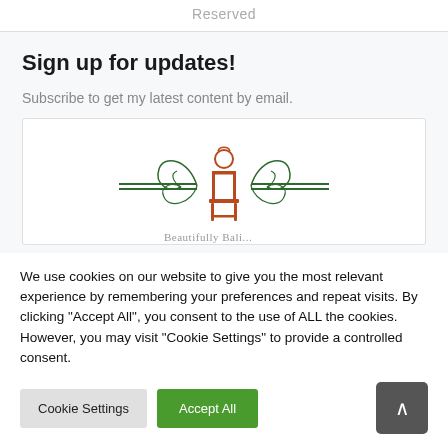Reserved
Sign up for updates!
Subscribe to get my latest content by email.
[Figure (logo): Decorative logo with an ornate chair motif flanked by scrollwork and two horizontal lines, with partial text below reading 'Beautifully Bali...']
We use cookies on our website to give you the most relevant experience by remembering your preferences and repeat visits. By clicking "Accept All", you consent to the use of ALL the cookies. However, you may visit "Cookie Settings" to provide a controlled consent.